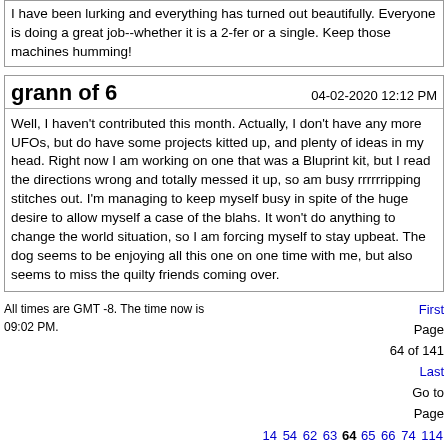I have been lurking and everything has turned out beautifully. Everyone is doing a great job--whether it is a 2-fer or a single. Keep those machines humming!
grann of 6
04-02-2020 12:12 PM
Well, I haven't contributed this month. Actually, I don't have any more UFOs, but do have some projects kitted up, and plenty of ideas in my head. Right now I am working on one that was a Bluprint kit, but I read the directions wrong and totally messed it up, so am busy rrrrrripping stitches out. I'm managing to keep myself busy in spite of the huge desire to allow myself a case of the blahs. It won't do anything to change the world situation, so I am forcing myself to stay upbeat. The dog seems to be enjoying all this one on one time with me, but also seems to miss the quilty friends coming over.
All times are GMT -8. The time now is 09:02 PM.
First Page 64 of 141 Last
Go to Page
14 54 62 63 64 65 66 74 114
Page 64 of 141
Go to [64] Go
Show 40 post(s) from this thread on one page